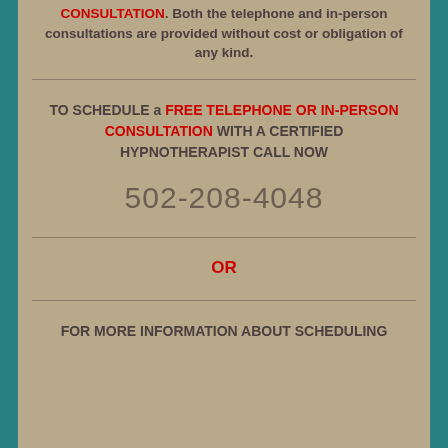CONSULTATION. Both the telephone and in-person consultations are provided without cost or obligation of any kind.
TO SCHEDULE a FREE TELEPHONE OR IN-PERSON CONSULTATION WITH A CERTIFIED HYPNOTHERAPIST CALL NOW
502-208-4048
OR
FOR MORE INFORMATION ABOUT SCHEDULING